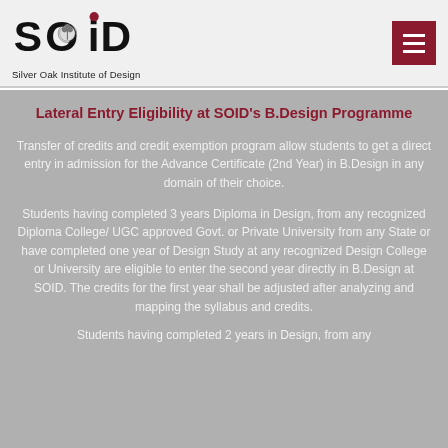[Figure (logo): SOiD logo - Silver Oak Institute of Design with tree/brain icon and red dot over i]
Silver Oak Institute of Design
Lateral Entry Eligibility at SOID's B.Design Programme
Transfer of credits and credit exemption program allow students to get a direct entry in admission for the Advance Certificate (2nd Year) in B.Design in any domain of their choice.
Students having completed 3 years Diploma in Design, from any recognized Diploma College/ UGC approved Govt. or Private University from any State or have completed one year of Design Study at any recognized Design College or University are eligible to enter the second year directly in B.Design at SOID. The credits for the first year shall be adjusted after analyzing and mapping the syllabus and credits.
Students having completed 2 years in Design, from any